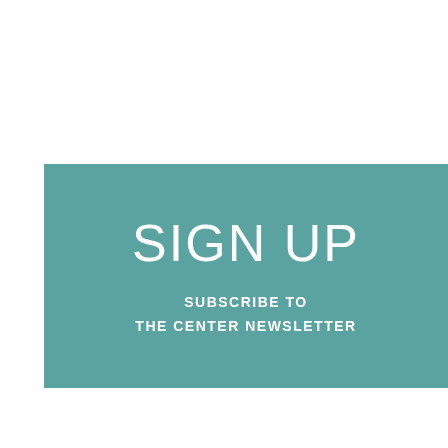SIGN UP
SUBSCRIBE TO THE CENTER NEWSLETTER
JOIN US
11.20.2022 DEMOCRATIC LENS SCHOLAR LECTURES